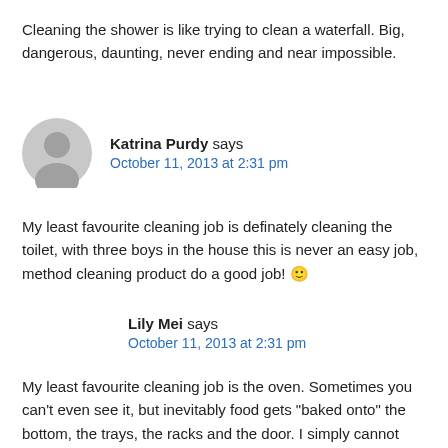Cleaning the shower is like trying to clean a waterfall. Big, dangerous, daunting, never ending and near impossible.
Katrina Purdy says
October 11, 2013 at 2:31 pm
My least favourite cleaning job is definately cleaning the toilet, with three boys in the house this is never an easy job, method cleaning product do a good job! 🙂
Lily Mei says
October 11, 2013 at 2:31 pm
My least favourite cleaning job is the oven. Sometimes you can't even see it, but inevitably food gets "baked onto" the bottom, the trays, the racks and the door. I simply cannot use the oven